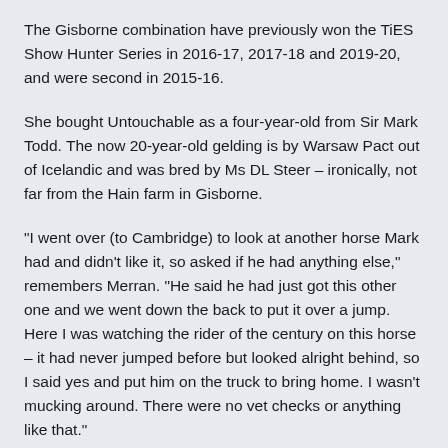The Gisborne combination have previously won the TiES Show Hunter Series in 2016-17, 2017-18 and 2019-20, and were second in 2015-16.
She bought Untouchable as a four-year-old from Sir Mark Todd. The now 20-year-old gelding is by Warsaw Pact out of Icelandic and was bred by Ms DL Steer – ironically, not far from the Hain farm in Gisborne.
“I went over (to Cambridge) to look at another horse Mark had and didn’t like it, so asked if he had anything else,” remembers Merran. “He said he had just got this other one and we went down the back to put it over a jump. Here I was watching the rider of the century on this horse – it had never jumped before but looked alright behind, so I said yes and put him on the truck to bring home. I wasn’t mucking around. There were no vet checks or anything like that.”